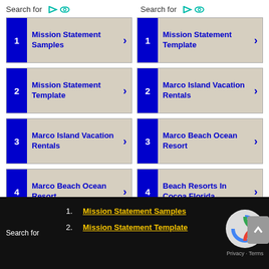Search for
Search for
1 Mission Statement Samples
1 Mission Statement Template
2 Mission Statement Template
2 Marco Island Vacation Rentals
3 Marco Island Vacation Rentals
3 Marco Beach Ocean Resort
4 Marco Beach Ocean Resort
4 Beach Resorts In Cocoa Florida
Search for
1. Mission Statement Samples
2. Mission Statement Template